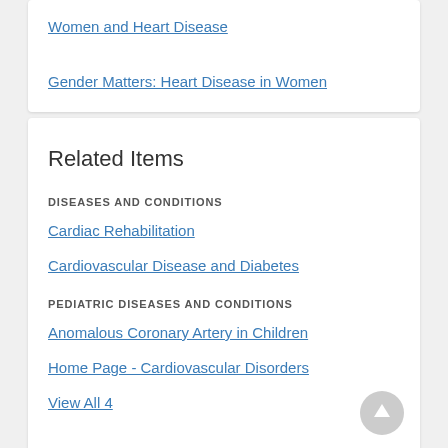Women and Heart Disease
Gender Matters: Heart Disease in Women
Related Items
DISEASES AND CONDITIONS
Cardiac Rehabilitation
Cardiovascular Disease and Diabetes
PEDIATRIC DISEASES AND CONDITIONS
Anomalous Coronary Artery in Children
Home Page - Cardiovascular Disorders
View All 4